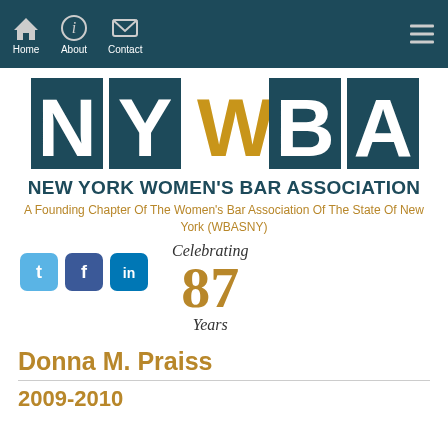Home | About | Contact
[Figure (logo): NYWBA logo — large serif letters N Y W B A with W in gold, on dark teal background squares]
NEW YORK WOMEN'S BAR ASSOCIATION
A Founding Chapter Of The Women's Bar Association Of The State Of New York (WBASNY)
[Figure (infographic): Social media icons (Twitter, Facebook, LinkedIn) alongside 'Celebrating 87 Years' text]
Donna M. Praiss
2009-2010